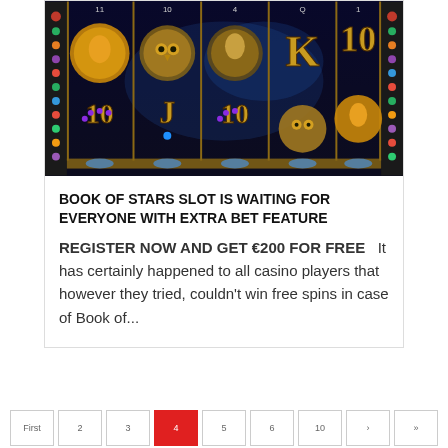[Figure (screenshot): Screenshot of Book of Stars slot game showing spinning reels with symbols including an owl, female profile cameo, bearded man face, letter K, number 10, letter J on a dark cosmic background with gold ornate borders and colored gem indicators on the sides.]
BOOK OF STARS SLOT IS WAITING FOR EVERYONE WITH EXTRA BET FEATURE
REGISTER NOW AND GET €200 FOR FREE   It has certainly happened to all casino players that however they tried, couldn't win free spins in case of Book of...
First
2
3
4
5
6
10